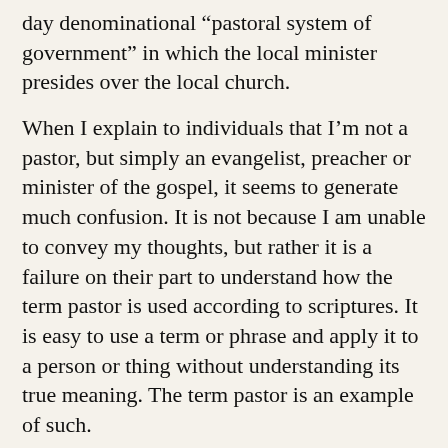day denominational “pastoral system of government” in which the local minister presides over the local church.
When I explain to individuals that I’m not a pastor, but simply an evangelist, preacher or minister of the gospel, it seems to generate much confusion. It is not because I am unable to convey my thoughts, but rather it is a failure on their part to understand how the term pastor is used according to scriptures. It is easy to use a term or phrase and apply it to a person or thing without understanding its true meaning. The term pastor is an example of such.
My wife and I are home educators. We often emphasize to our children the need to have a clear understanding of how words are used and their significance. We caution them to be careful with their choice and use of words